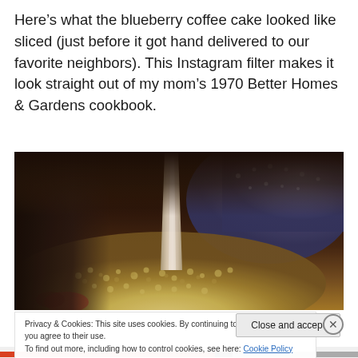Here's what the blueberry coffee cake looked like sliced (just before it got hand delivered to our favorite neighbors). This Instagram filter makes it look straight out of my mom's 1970 Better Homes & Gardens cookbook.
[Figure (photo): Instagram-filtered close-up photo of sliced blueberry coffee cake with crumble topping, a knife, and a blue baking dish, with warm vintage tones.]
Privacy & Cookies: This site uses cookies. By continuing to use this website, you agree to their use.
To find out more, including how to control cookies, see here: Cookie Policy
Close and accept